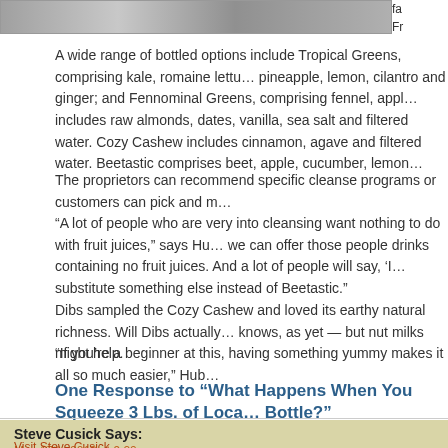[Figure (photo): Top bar showing a photo strip of juice bottles and products]
fa...
Fr...
A wide range of bottled options include Tropical Greens, comprising kale, romaine lettu… pineapple, lemon, cilantro and ginger; and Fennominal Greens, comprising fennel, appl… includes raw almonds, dates, vanilla, sea salt and filtered water. Cozy Cashew includes cinnamon, agave and filtered water. Beetastic comprises beet, apple, cucumber, lemon…
The proprietors can recommend specific cleanse programs or customers can pick and m…
“A lot of people who are very into cleansing want nothing to do with fruit juices,” says Hu… we can offer those people drinks containing no fruit juices. And a lot of people will say, ‘I… substitute something else instead of Beetastic.”
Dibs sampled the Cozy Cashew and loved its earthy natural richness. Will Dibs actually… knows, as yet — but nut milks might help.
“If you’re a beginner at this, having something yummy makes it all so much easier,” Hub…
One Response to “What Happens When You Squeeze 3 Lbs. of Loca… Bottle?”
Steve Cusick Says:
May 17th, 2013 at 9:20 pm
Visit Steve Cusick